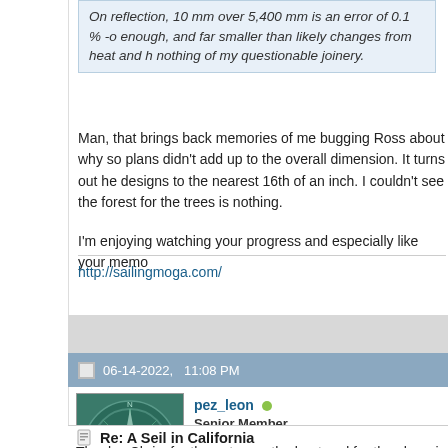On reflection, 10 mm over 5,400 mm is an error of 0.1 % -o enough, and far smaller than likely changes from heat and h nothing of my questionable joinery.
Man, that brings back memories of me bugging Ross about why so plans didn't add up to the overall dimension. It turns out he designs to the nearest 16th of an inch. I couldn't see the forest for the trees is nothing.
I'm enjoying watching your progress and especially like your memo
http://sailingmoga.com/
06-14-2022,   11:08 PM
[Figure (photo): Avatar image of user pez_leon showing a circular compass rose or nautical design in teal/green tones]
pez_leon
Senior Member
Re: A Seil in California
Thanks, Chris, for the notes on the boat and for the charming vide